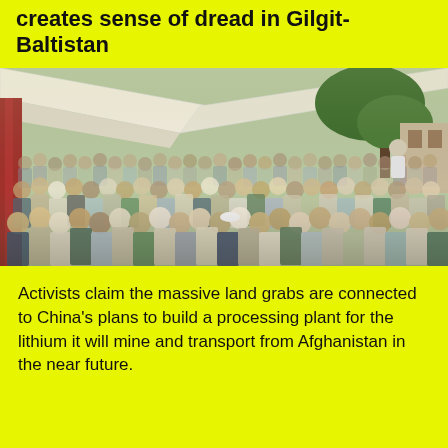creates sense of dread in Gilgit-Baltistan
[Figure (photo): Large crowd of people gathered under white canvas tent canopies, with trees visible in background. Appears to be a protest or community meeting in South Asia.]
Activists claim the massive land grabs are connected to China's plans to build a processing plant for the lithium it will mine and transport from Afghanistan in the near future.